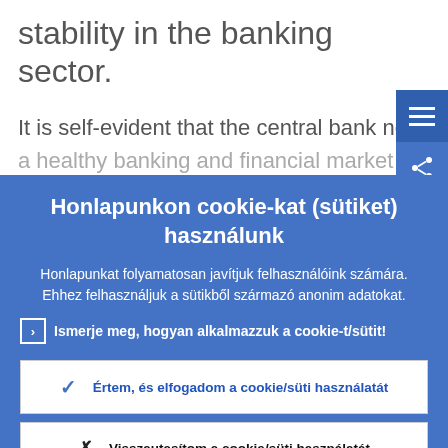stability in the banking sector.
It is self-evident that the central bank nee
a healthy banking and financial market
Honlapunkon cookie-kat (sütiket) használunk
Honlapunkat folyamatosan javítjuk felhasználóink számára. Ehhez felhasználjuk a sütikből származó anonim adatokat.
Ismerje meg, hogyan alkalmazzuk a cookie-t/sütit!
Értem, és elfogadom a cookie/süti használatát
Visszautasítom a cookie/süti használatát